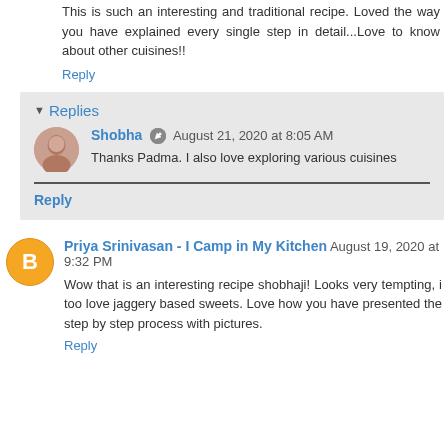This is such an interesting and traditional recipe. Loved the way you have explained every single step in detail...Love to know about other cuisines!!
Reply
Replies
Shobha August 21, 2020 at 8:05 AM
Thanks Padma. I also love exploring various cuisines
Reply
Priya Srinivasan - I Camp in My Kitchen August 19, 2020 at 9:32 PM
Wow that is an interesting recipe shobhaji! Looks very tempting, i too love jaggery based sweets. Love how you have presented the step by step process with pictures.
Reply